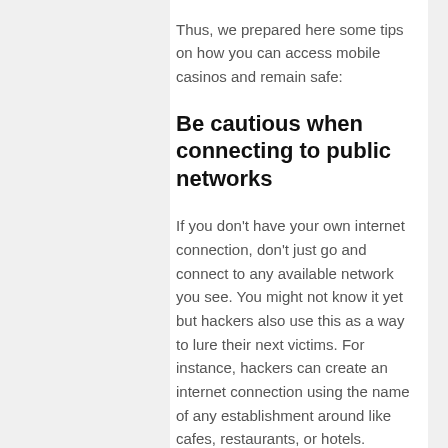Thus, we prepared here some tips on how you can access mobile casinos and remain safe:
Be cautious when connecting to public networks
If you don't have your own internet connection, don't just go and connect to any available network you see. You might not know it yet but hackers also use this as a way to lure their next victims. For instance, hackers can create an internet connection using the name of any establishment around like cafes, restaurants, or hotels. Initially, they would allow you to connect without a password